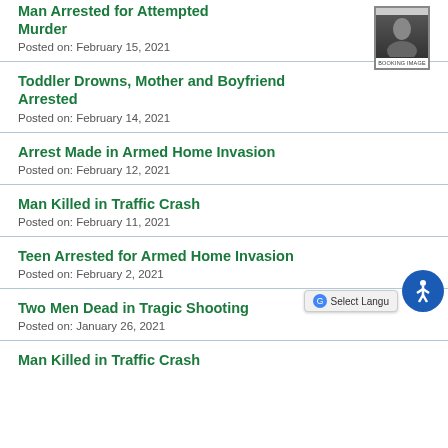Man Arrested for Attempted Murder
Posted on: February 15, 2021
Toddler Drowns, Mother and Boyfriend Arrested
Posted on: February 14, 2021
Arrest Made in Armed Home Invasion
Posted on: February 12, 2021
Man Killed in Traffic Crash
Posted on: February 11, 2021
Teen Arrested for Armed Home Invasion
Posted on: February 2, 2021
Two Men Dead in Tragic Shooting
Posted on: January 26, 2021
Man Killed in Traffic Crash